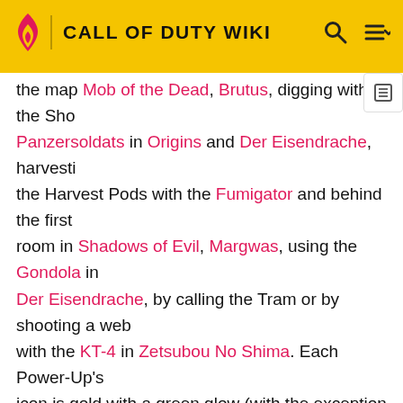CALL OF DUTY WIKI
the map Mob of the Dead, Brutus, digging with the Sho Panzersoldats in Origins and Der Eisendrache, harvestig the Harvest Pods with the Fumigator and behind the first room in Shadows of Evil, Margwas, using the Gondola in Der Eisendrache, by calling the Tram or by shooting a web with the KT-4 in Zetsubou No Shima. Each Power-Up's icon is gold with a green glow (with the exception of the Death Machine, Zombie Blood and Lightning Bolt, which are silver and glow blue) and hover above the ground. The icon will blink when it is about to disappear (except on the Nintendo Wii version of Call of Duty: Black Ops, where becomes more transparent until it disappears). All power-ups give off a whistling or humming noise when a zombie drops them. Also, the Demonic Announcer will announce